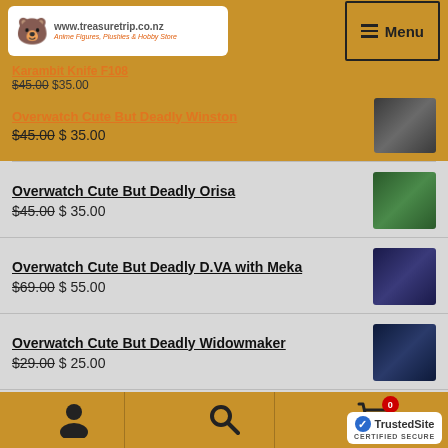[Figure (screenshot): Website header with TreasureTrip logo and Menu button]
Karambit Knife F108
$45.00 $35.00
Overwatch Cute But Deadly Winston
$45.00 $35.00
Overwatch Cute But Deadly Orisa
$45.00 $35.00
Overwatch Cute But Deadly D.VA with Meka
$69.00 $55.00
Overwatch Cute But Deadly Widowmaker
$29.00 $25.00
Overwatch Cute But Deadly Shiver Reaper